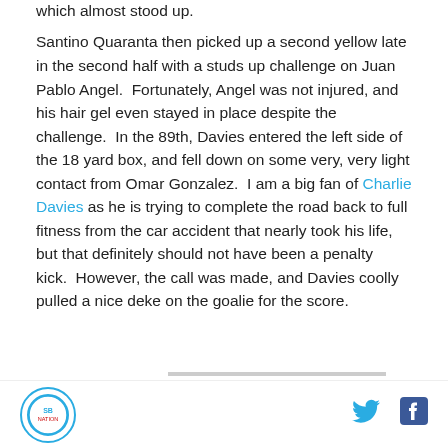which almost stood up.
Santino Quaranta then picked up a second yellow late in the second half with a studs up challenge on Juan Pablo Angel.  Fortunately, Angel was not injured, and his hair gel even stayed in place despite the challenge.  In the 89th, Davies entered the left side of the 18 yard box, and fell down on some very, very light contact from Omar Gonzalez.  I am a big fan of Charlie Davies as he is trying to complete the road back to full fitness from the car accident that nearly took his life, but that definitely should not have been a penalty kick.  However, the call was made, and Davies coolly pulled a nice deke on the goalie for the score.
Logo | Twitter | Facebook